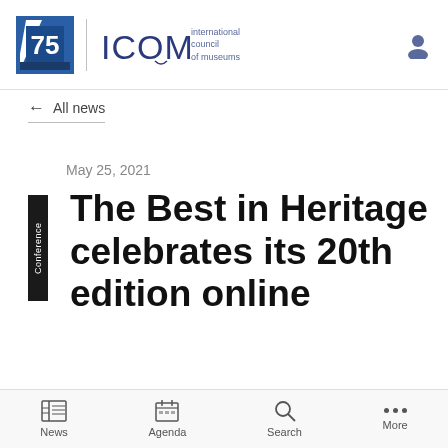ICOM — International Council of Museums
← All news
May 25, 2021
The Best in Heritage celebrates its 20th edition online
News | Agenda | Search | More